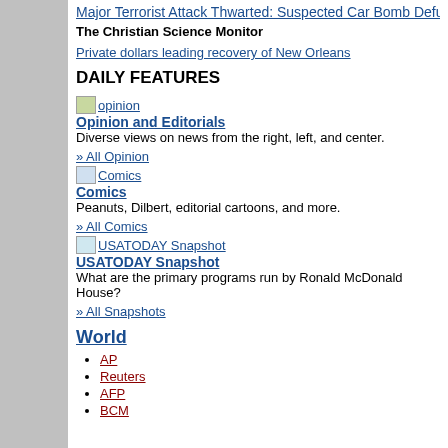Major Terrorist Attack Thwarted: Suspected Car Bomb Defused in Central Lo...
The Christian Science Monitor
Private dollars leading recovery of New Orleans
DAILY FEATURES
[Figure (other): opinion icon image]
Opinion and Editorials
Diverse views on news from the right, left, and center.
» All Opinion
[Figure (other): Comics icon image]
Comics
Peanuts, Dilbert, editorial cartoons, and more.
» All Comics
[Figure (other): USATODAY Snapshot icon image]
USATODAY Snapshot
What are the primary programs run by Ronald McDonald House?
» All Snapshots
World
AP
Reuters
AFP
BCM...